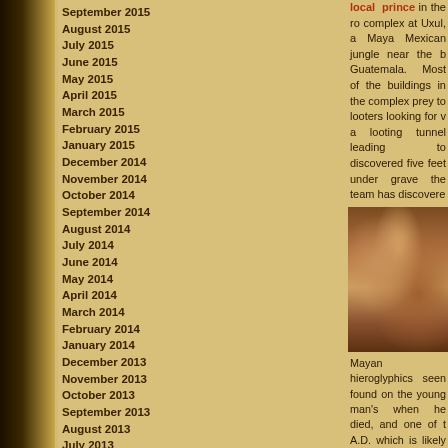September 2015
August 2015
July 2015
June 2015
May 2015
April 2015
March 2015
February 2015
January 2015
December 2014
November 2014
October 2014
September 2014
August 2014
July 2014
June 2014
May 2014
April 2014
March 2014
February 2014
January 2014
December 2013
November 2013
October 2013
September 2013
August 2013
July 2013
June 2013
May 2013
April 2013
March 2013
February 2013
local prince in the royal complex at Uxul, a Maya Mexican jungle near the border Guatemala. Most of the buildings in the complex fell prey to looters looking for valuables, a looting tunnel leading to the grave discovered five feet under the grave the team has discovered
[Figure (photo): Archaeological excavation photo showing a burial site with bones and artifacts visible in a reddish-brown earthen chamber at Uxul Maya site]
Mayan hieroglyphics seen found on the young man's when he died, and one of the A.D. which is likely to be the
That vessel also bears an labeling it as "the drinking v young man/prince." Since found in the largest bu discovered in Uxul's ro